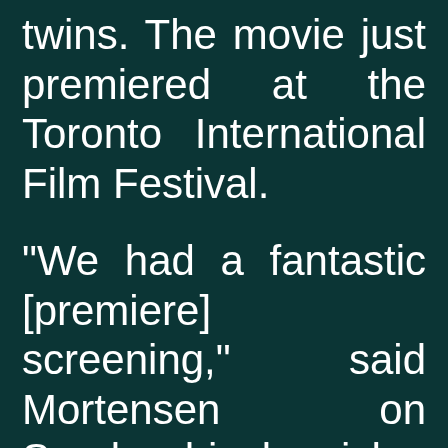twins. The movie just premiered at the Toronto International Film Festival.

"We had a fantastic [premiere] screening," said Mortensen on Sunday, his longish,